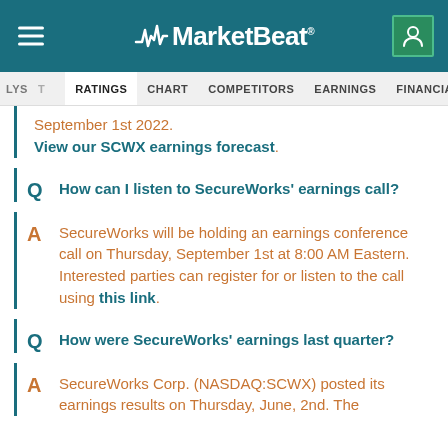MarketBeat
ALYST RATINGS CHART COMPETITORS EARNINGS FINANCIALS INSIDER TR
September 1st 2022. View our SCWX earnings forecast.
Q  How can I listen to SecureWorks' earnings call?
A  SecureWorks will be holding an earnings conference call on Thursday, September 1st at 8:00 AM Eastern. Interested parties can register for or listen to the call using this link.
Q  How were SecureWorks' earnings last quarter?
A  SecureWorks Corp. (NASDAQ:SCWX) posted its earnings results on Thursday, June, 2nd. The